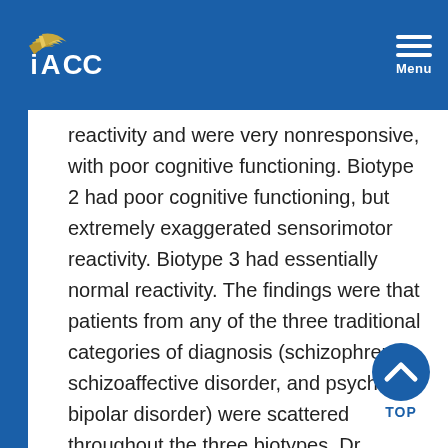IACC Menu
reactivity and were very nonresponsive, with poor cognitive functioning. Biotype 2 had poor cognitive functioning, but extremely exaggerated sensorimotor reactivity. Biotype 3 had essentially normal reactivity. The findings were that patients from any of the three traditional categories of diagnosis (schizophrenia, schizoaffective disorder, and psychotic bipolar disorder) were scattered throughout the three biotypes. Dr. Cuthbert remarked that, given the many genetic and phenotypic overlaps between schizophrenia and ASD, the data might be somewhat